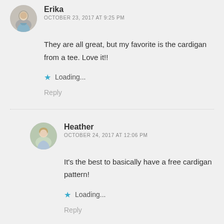[Figure (photo): Round avatar photo of Erika, a person in a floral dress outdoors]
Erika
OCTOBER 23, 2017 AT 9:25 PM
They are all great, but my favorite is the cardigan from a tee. Love it!!
Loading...
Reply
[Figure (photo): Round avatar photo of Heather, a woman with light hair]
Heather
OCTOBER 24, 2017 AT 12:06 PM
It's the best to basically have a free cardigan pattern!
Loading...
Reply